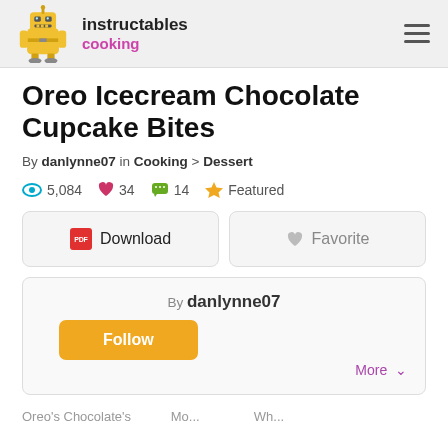instructables cooking
Oreo Icecream Chocolate Cupcake Bites
By danlynne07 in Cooking > Dessert
5,084 views  34 favorites  14 comments  Featured
Download  Favorite
By danlynne07  Follow  More